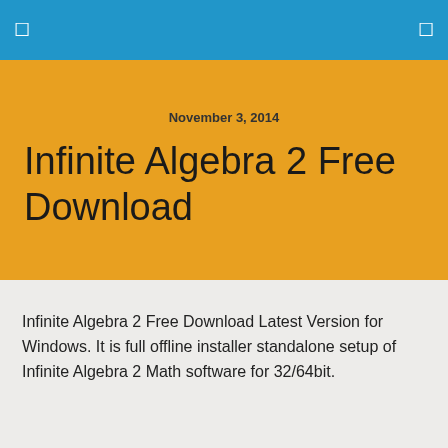☰  ☰
November 3, 2014
Infinite Algebra 2 Free Download
Infinite Algebra 2 Free Download Latest Version for Windows. It is full offline installer standalone setup of Infinite Algebra 2 Math software for 32/64bit.